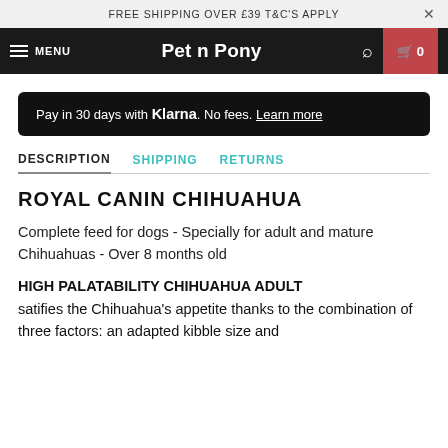FREE SHIPPING OVER £39 T&C'S APPLY
Pet n Pony — MENU, search, cart 0
Pay in 30 days with Klarna. No fees. Learn more
DESCRIPTION  SHIPPING  RETURNS
ROYAL CANIN CHIHUAHUA
Complete feed for dogs - Specially for adult and mature Chihuahuas - Over 8 months old
HIGH PALATABILITY CHIHUAHUA ADULT satifies the Chihuahua's appetite thanks to the combination of three factors: an adapted kibble size and shape, a specific formula, and a dedicated flavour